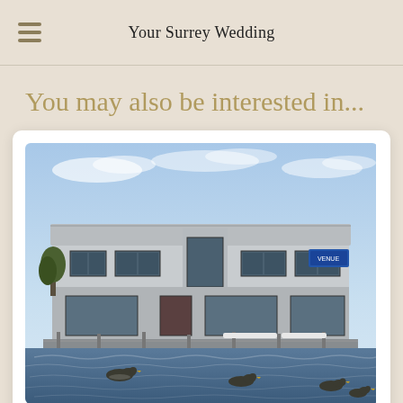Your Surrey Wedding
You may also be interested in...
[Figure (photo): Waterfront building with ducks on water in foreground, blue sky above. A commercial or event venue building with grey siding, large windows, and a metal roof, situated on a waterfront with geese swimming in the water below.]